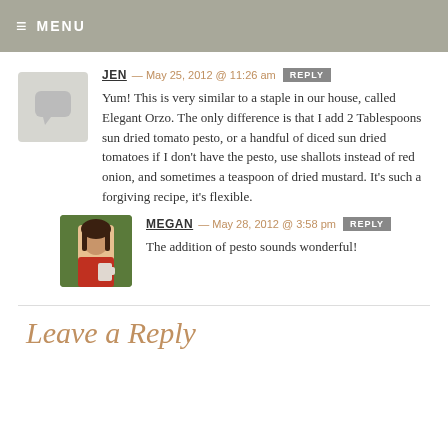≡ MENU
JEN — May 25, 2012 @ 11:26 am  REPLY
Yum! This is very similar to a staple in our house, called Elegant Orzo. The only difference is that I add 2 Tablespoons sun dried tomato pesto, or a handful of diced sun dried tomatoes if I don't have the pesto, use shallots instead of red onion, and sometimes a teaspoon of dried mustard. It's such a forgiving recipe, it's flexible.
MEGAN — May 28, 2012 @ 3:58 pm  REPLY
The addition of pesto sounds wonderful!
Leave a Reply